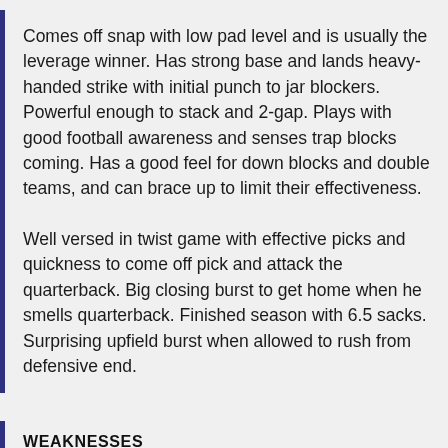Comes off snap with low pad level and is usually the leverage winner. Has strong base and lands heavy-handed strike with initial punch to jar blockers. Powerful enough to stack and 2-gap. Plays with good football awareness and senses trap blocks coming. Has a good feel for down blocks and double teams, and can brace up to limit their effectiveness.
Well versed in twist game with effective picks and quickness to come off pick and attack the quarterback. Big closing burst to get home when he smells quarterback. Finished season with 6.5 sacks. Surprising upfield burst when allowed to rush from defensive end.
WEAKNESSES
Can be undisciplined pre-snap with five